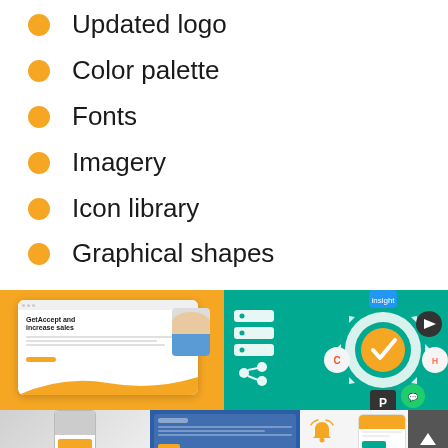Updated logo
Color palette
Fonts
Imagery
Icon library
Graphical shapes
[Figure (screenshot): Screenshot of GetAccept website with orange branding showing 'GetAccept and increase sales' headline]
[Figure (infographic): Integration diagram on teal/green background showing gear with checkmark connected to various integration icons]
[Figure (photo): Mobile device photo on light background]
[Figure (screenshot): Blue background screenshot showing email/document interface]
[Figure (screenshot): Mobile notification UI with orange bell icon and dark scroll-to-top button]